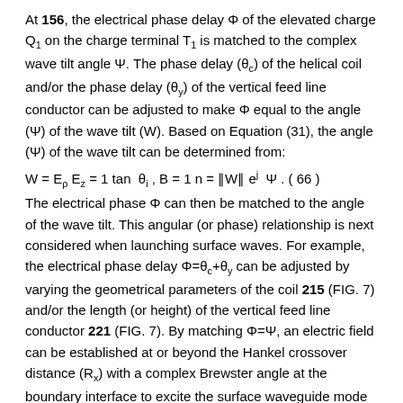At 156, the electrical phase delay Φ of the elevated charge Q1 on the charge terminal T1 is matched to the complex wave tilt angle Ψ. The phase delay (θc) of the helical coil and/or the phase delay (θy) of the vertical feed line conductor can be adjusted to make Φ equal to the angle (Ψ) of the wave tilt (W). Based on Equation (31), the angle (Ψ) of the wave tilt can be determined from:
The electrical phase Φ can then be matched to the angle of the wave tilt. This angular (or phase) relationship is next considered when launching surface waves. For example, the electrical phase delay Φ=θc+θy can be adjusted by varying the geometrical parameters of the coil 215 (FIG. 7) and/or the length (or height) of the vertical feed line conductor 221 (FIG. 7). By matching Φ=Ψ, an electric field can be established at or beyond the Hankel crossover distance (Rx) with a complex Brewster angle at the boundary interface to excite the surface waveguide mode and launch a traveling wave along the lossy conducting medium 203